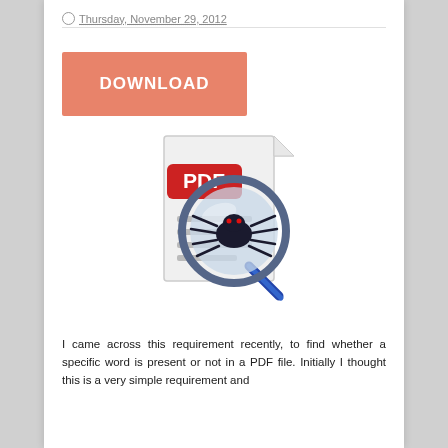Thursday, November 29, 2012
[Figure (illustration): A button labeled DOWNLOAD with salmon/coral background color and white bold text]
[Figure (illustration): Icon showing a PDF document with a magnifying glass that has a spider inside it, representing PDF search/scanning functionality]
I came across this requirement recently, to find whether a specific word is present or not in a PDF file. Initially I thought this is a very simple requirement and